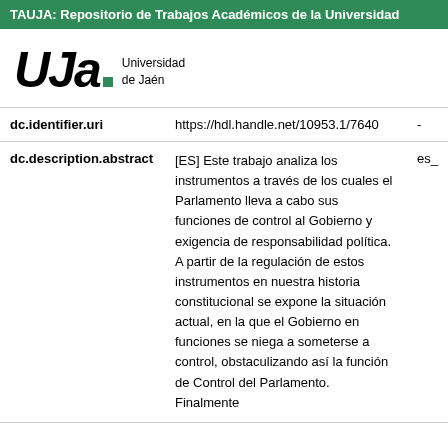TAUJA: Repositorio de Trabajos Académicos de la Universidad
[Figure (logo): UJa Universidad de Jaén logo with green square dot]
| dc.identifier.uri | https://hdl.handle.net/10953.1/7640 | - |
| dc.description.abstract | [ES] Este trabajo analiza los instrumentos a través de los cuales el Parlamento lleva a cabo sus funciones de control al Gobierno y exigencia de responsabilidad política. A partir de la regulación de estos instrumentos en nuestra historia constitucional se expone la situación actual, en la que el Gobierno en funciones se niega a someterse a control, obstaculizando así la función de Control del Parlamento. Finalmente | es_ |